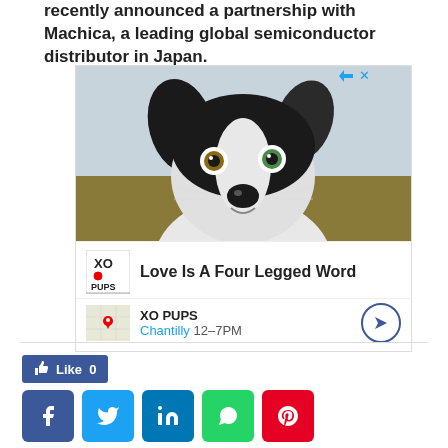recently announced a partnership with Machica, a leading global semiconductor distributor in Japan.
[Figure (photo): Advertisement for XO PUPS showing a black and white border collie puppy with heterochromia eyes, with tagline 'Love Is A Four Legged Word' and location 'Chantilly 12–7PM']
Like 0
[Figure (infographic): Social media share buttons: Facebook, Twitter, LinkedIn, WhatsApp, Pinterest]